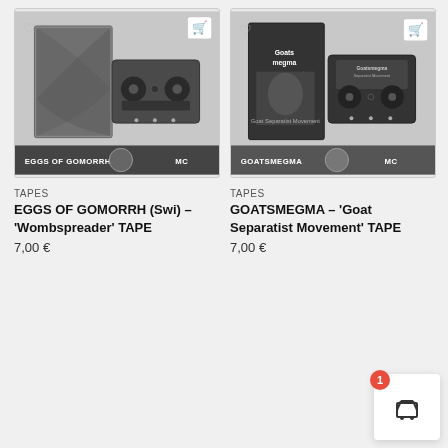[Figure (photo): Product image of EGGS OF GOMORRH Wombspreader cassette tape with spine and tape visible, dark artwork, label bar showing EGGS OF GOMORRH and MC]
[Figure (photo): Product image of GOATSMEGMA Goat Separatist Movement cassette tape with spine and tape visible, dark artwork, label bar showing GOATSMEGMA and MC]
TAPES
EGGS OF GOMORRH (Swi) – 'Wombspreader' TAPE
7,00 €
TAPES
GOATSMEGMA – 'Goat Separatist Movement' TAPE
7,00 €